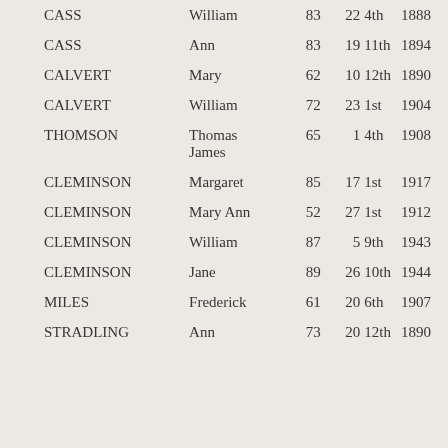| CASS | William | 83 | 22 | 4th | 1888 |
| CASS | Ann | 83 | 19 | 11th | 1894 |
| CALVERT | Mary | 62 | 10 | 12th | 1890 |
| CALVERT | William | 72 | 23 | 1st | 1904 |
| THOMSON | Thomas James | 65 | 1 | 4th | 1908 |
| CLEMINSON | Margaret | 85 | 17 | 1st | 1917 |
| CLEMINSON | Mary Ann | 52 | 27 | 1st | 1912 |
| CLEMINSON | William | 87 | 5 | 9th | 1943 |
| CLEMINSON | Jane | 89 | 26 | 10th | 1944 |
| MILES | Frederick | 61 | 20 | 6th | 1907 |
| STRADLING | Ann | 73 | 20 | 12th | 1890 |